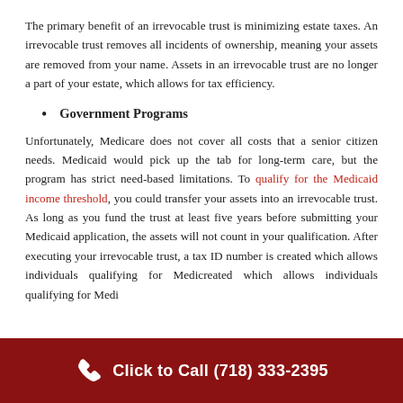The primary benefit of an irrevocable trust is minimizing estate taxes. An irrevocable trust removes all incidents of ownership, meaning your assets are removed from your name. Assets in an irrevocable trust are no longer a part of your estate, which allows for tax efficiency.
Government Programs
Unfortunately, Medicare does not cover all costs that a senior citizen needs. Medicaid would pick up the tab for long-term care, but the program has strict need-based limitations. To qualify for the Medicaid income threshold, you could transfer your assets into an irrevocable trust. As long as you fund the trust at least five years before submitting your Medicaid application, the assets will not count in your qualification. After executing your irrevocable trust, a tax ID number is created which allows individuals qualifying for Medi...
Click to Call (718) 333-2395